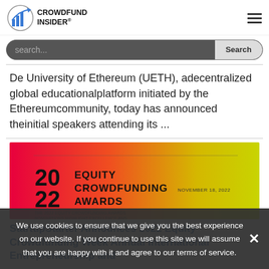[Figure (logo): Crowdfund Insider logo with bar chart icon]
[Figure (other): Search bar with dark background and Search button]
De University of Ethereum (UETH), adecentralized global educationalplatform initiated by the Ethereumcommunity, today has announced theinitial speakers attending its ...
[Figure (other): 2022 Equity Crowdfunding Awards banner with gradient background from red/pink to yellow]
StartupStarter Announces 2022 Equity Crowdfunding Week Annual International Entrepreneurship and
We use cookies to ensure that we give you the best experience on our website. If you continue to use this site we will assume that you are happy with it and agree to our terms of service.